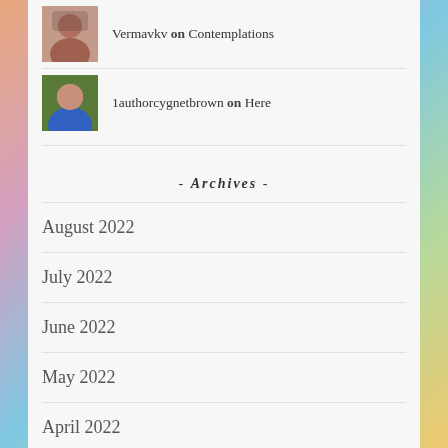Vermavkv on Contemplations
1authorcygnetbrown on Here
- Archives -
August 2022
July 2022
June 2022
May 2022
April 2022